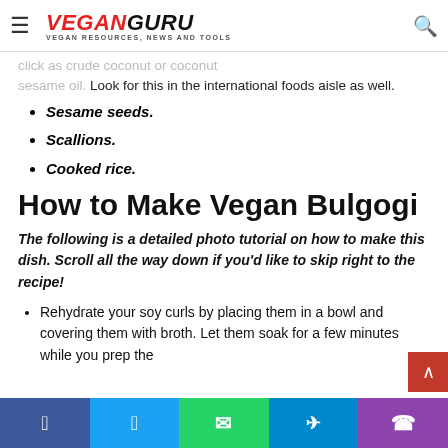VeganGuru — VEGAN RESOURCES, NEWS AND TOOLS
coconut oil. Look for this in the international foods aisle as well.
Sesame seeds.
Scallions.
Cooked rice.
How to Make Vegan Bulgogi
The following is a detailed photo tutorial on how to make this dish. Scroll all the way down if you'd like to skip right to the recipe!
Rehydrate your soy curls by placing them in a bowl and covering them with broth. Let them soak for a few minutes while you prep the...